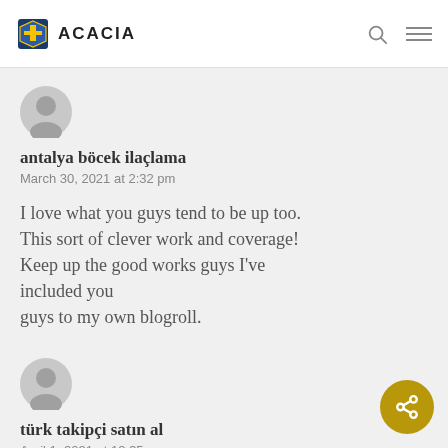ACACIA
[Figure (illustration): Gray circular user avatar icon for comment author antalya böcek ilaçlama]
antalya böcek ilaçlama
March 30, 2021 at 2:32 pm
I love what you guys tend to be up too. This sort of clever work and coverage! Keep up the good works guys I've included you guys to my own blogroll.
[Figure (illustration): Gray circular user avatar icon for comment author türk takipçi satın al]
türk takipçi satın al
April 1, 2021 at 12:35 am